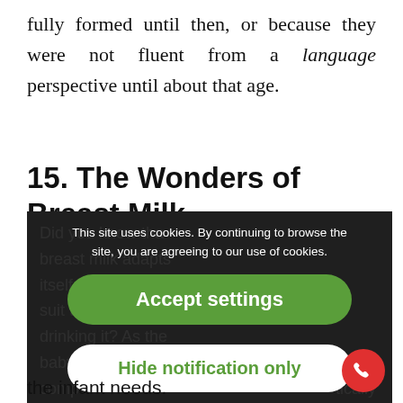fully formed until then, or because they were not fluent from a language perspective until about that age.
15. The Wonders of Breast Milk
[Figure (screenshot): Screenshot of a webpage about breast milk partially obscured by a cookie consent overlay. The overlay contains the text: 'This site uses cookies. By continuing to browse the site, you are agreeing to our use of cookies.' with two buttons: 'Accept settings' (green) and 'Hide notification only' (white). A red phone icon button is visible in the bottom right corner.]
the infant needs.